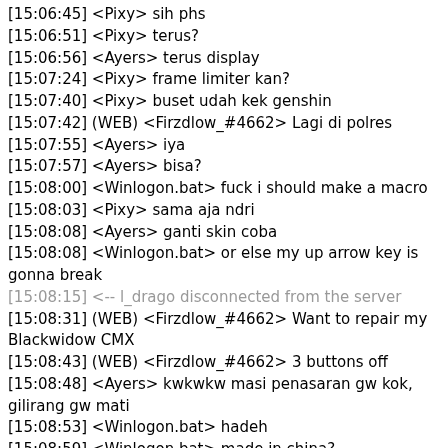[15:06:45] <Pixy> sih phs
[15:06:51] <Pixy> terus?
[15:06:56] <Ayers> terus display
[15:07:24] <Pixy> frame limiter kan?
[15:07:40] <Pixy> buset udah kek genshin
[15:07:42] (WEB) <Firzdlow_#4662> Lagi di polres
[15:07:55] <Ayers> iya
[15:07:57] <Ayers> bisa?
[15:08:00] <Winlogon.bat> fuck i should make a macro
[15:08:03] <Pixy> sama aja ndri
[15:08:08] <Ayers> ganti skin coba
[15:08:08] <Winlogon.bat> or else my up arrow key is gonna break
[15:08:15] <-- l_drago disconnected from the server
[15:08:31] (WEB) <Firzdlow_#4662> Want to repair my Blackwidow CMX
[15:08:43] (WEB) <Firzdlow_#4662> 3 buttons off
[15:08:48] <Ayers> kwkwkw masi penasaran gw kok, gilirang gw mati
[15:08:53] <Winlogon.bat> hadeh
[15:08:59] <Winlogon.bat> made in china?
[15:09:06] <Danielson> maybe
[15:09:14] <Pixy> made in mainland
[15:09:19] <Danielson> made by xi
[15:09:37] <Winlogon.bat> didnt know twi is selling keyboards
[15:10:05] <Pixy> baru ngerasain ga pake frame limiter gw